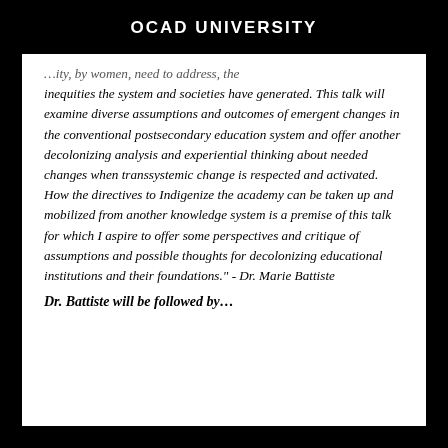OCAD UNIVERSITY
…ity, by women, need to address, the inequities the system and societies have generated. This talk will examine diverse assumptions and outcomes of emergent changes in the conventional postsecondary education system and offer another decolonizing analysis and experiential thinking about needed changes when transsystemic change is respected and activated. How the directives to Indigenize the academy can be taken up and mobilized from another knowledge system is a premise of this talk for which I aspire to offer some perspectives and critique of assumptions and possible thoughts for decolonizing educational institutions and their foundations." - Dr. Marie Battiste
Dr. Battiste will be followed by…